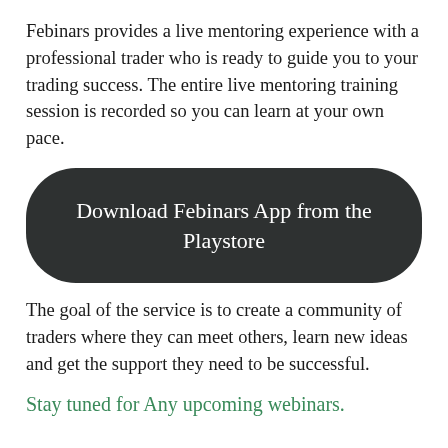Febinars provides a live mentoring experience with a professional trader who is ready to guide you to your trading success. The entire live mentoring training session is recorded so you can learn at your own pace.
Download Febinars App from the Playstore
The goal of the service is to create a community of traders where they can meet others, learn new ideas and get the support they need to be successful.
Stay tuned for Any upcoming webinars.